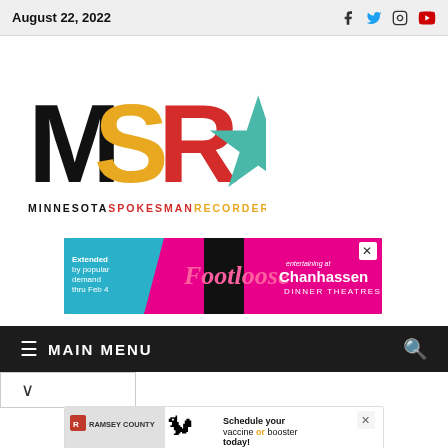August 22, 2022
[Figure (logo): Minnesota Spokesman-Recorder (MSR) logo with colorful letters M, S, R and Minnesota state outline, with text MINNESOTASPOKESMANRECORDER below]
[Figure (other): Advertisement: Footloose extended by popular demand thru Feb 4 - Chanhassen Dinner Theatres]
☰ MAIN MENU
[Figure (other): Advertisement: Schedule your vaccine or booster today! - Ramsey County with squirrel mascot]